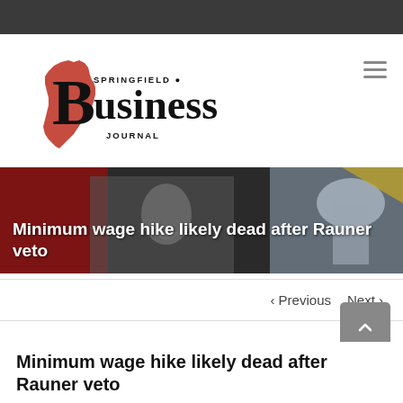[Figure (logo): Springfield Business Journal logo with red Illinois state silhouette and bold serif 'Business' text]
[Figure (photo): Hero banner with black background showing image of Abraham Lincoln and Illinois State Capitol building with red overlay elements]
Minimum wage hike likely dead after Rauner veto
< Previous   Next >
Minimum wage hike likely dead after Rauner veto